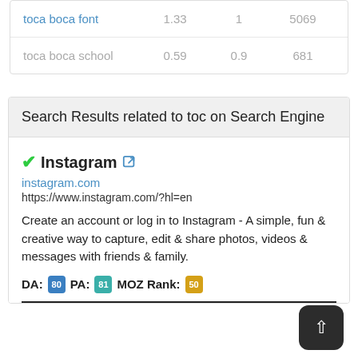|  |  |  |  |
| --- | --- | --- | --- |
| toca boca font | 1.33 | 1 | 5069 |
| toca boca school | 0.59 | 0.9 | 681 |
Search Results related to toc on Search Engine
✔Instagram 🔗
instagram.com
https://www.instagram.com/?hl=en

Create an account or log in to Instagram - A simple, fun & creative way to capture, edit & share photos, videos & messages with friends & family.

DA: [80] PA: [81] MOZ Rank: [50]